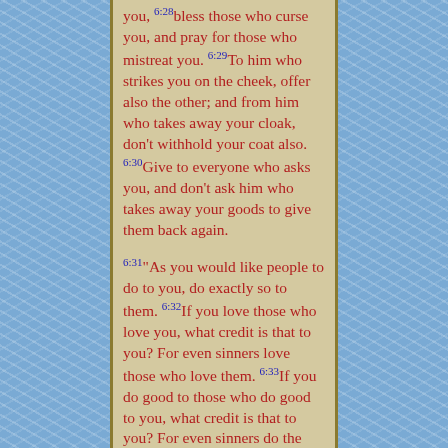you, [6:28]bless those who curse you, and pray for those who mistreat you. [6:29]To him who strikes you on the cheek, offer also the other; and from him who takes away your cloak, don't withhold your coat also. [6:30]Give to everyone who asks you, and don't ask him who takes away your goods to give them back again. [6:31]"As you would like people to do to you, do exactly so to them. [6:32]If you love those who love you, what credit is that to you? For even sinners love those who love them. [6:33]If you do good to those who do good to you, what credit is that to you? For even sinners do the same. [6:34]If you lend to those from whom you hope to receive, what credit is that to you? Even sinners lend to sinners, to receive back as much. [6:35]But love your enemies, and do good, and lend, expecting